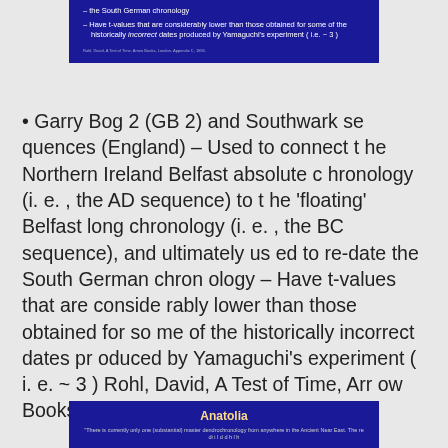[Figure (screenshot): Blue slide fragment showing bullet points about South German chronology and t-values, with a citation at bottom]
• Garry Bog 2 (GB 2) and Southwark sequences (England) – Used to connect the Northern Ireland Belfast absolute chronology (i. e. , the AD sequence) to the 'floating' Belfast long chronology (i. e. , the BC sequence), and ultimately used to re-date the South German chronology – Have t-values that are considerably lower than those obtained for some of the historically incorrect dates produced by Yamaguchi's experiment ( i. e. ~ 3 ) Rohl, David, A Test of Time, Arrow Books, London, Appendix C, 1996.
[Figure (screenshot): Blue slide showing 'Anatolia' title and text about master dendrochronology from Ancient Near East]